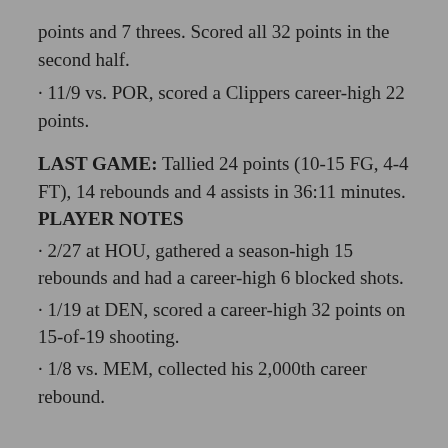points and 7 threes. Scored all 32 points in the second half.
· 11/9 vs. POR, scored a Clippers career-high 22 points.
LAST GAME: Tallied 24 points (10-15 FG, 4-4 FT), 14 rebounds and 4 assists in 36:11 minutes.
PLAYER NOTES
· 2/27 at HOU, gathered a season-high 15 rebounds and had a career-high 6 blocked shots.
· 1/19 at DEN, scored a career-high 32 points on 15-of-19 shooting.
· 1/8 vs. MEM, collected his 2,000th career rebound.